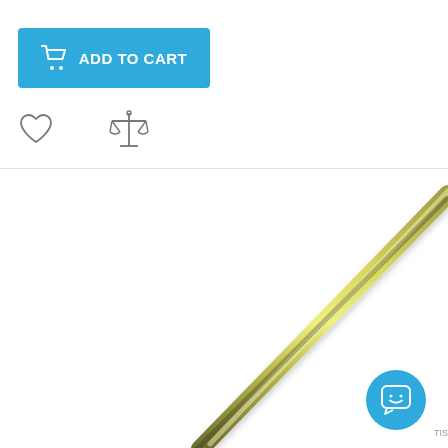[Figure (screenshot): E-commerce product page screenshot showing an 'Add to Cart' button in blue with a shopping cart icon, plus wishlist (heart) and compare (scales) icons below it, followed by a product photo of a metal rod/tube angled diagonally on white background, and a chat widget button in the bottom right corner.]